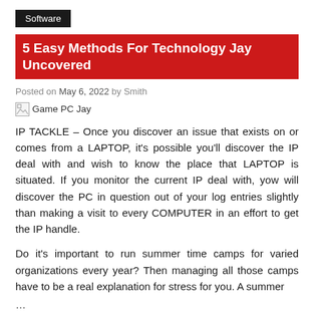Software
5 Easy Methods For Technology Jay Uncovered
Posted on May 6, 2022 by Smith
[Figure (illustration): Broken image placeholder labeled 'Game PC Jay']
IP TACKLE – Once you discover an issue that exists on or comes from a LAPTOP, it's possible you'll discover the IP deal with and wish to know the place that LAPTOP is situated. If you monitor the current IP deal with, yow will discover the PC in question out of your log entries slightly than making a visit to every COMPUTER in an effort to get the IP handle.
Do it's important to run summer time camps for varied organizations every year? Then managing all those camps have to be a real explanation for stress for you. A summer
…